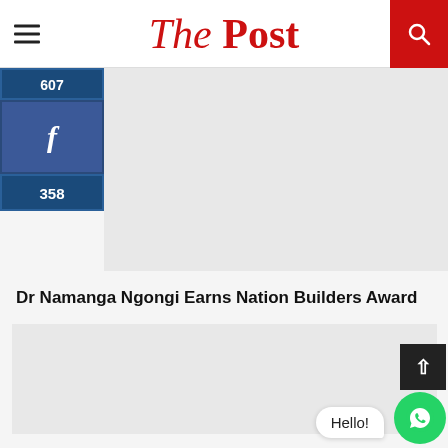The Post
[Figure (screenshot): Social share sidebar showing 607 count, Facebook icon, and 358 shares]
[Figure (screenshot): Advertisement placeholder block (gray)]
Dr Namanga Ngongi Earns Nation Builders Award
[Figure (screenshot): Main article image or advertisement placeholder (gray)]
[Figure (screenshot): Hello! WhatsApp chat bubble and WhatsApp floating button with back-to-top button]